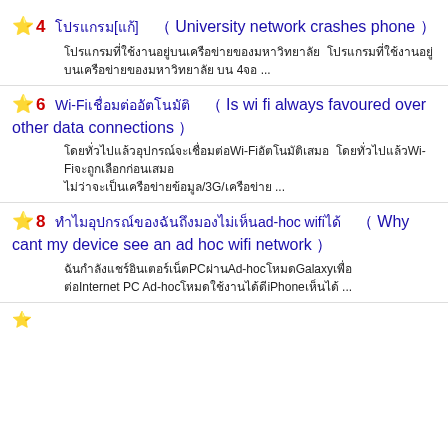★ 4 โปรแกรม[แก้] ( University network crashes phone )
โปรแกรมที่ใช้งานอยู่บนเครือข่ายของมหาวิทยาลัย โปรแกรมที่ใช้งานอยู่บนเครือข่ายของมหาวิทยาลัย บน 4จอ ...
★ 6 Wi-Fiเชื่อมต่ออัตโนมัติ ( Is wi fi always favoured over other data connections )
โดยทั่วไปแล้วอุปกรณ์จะเชื่อมต่อWi-Fiอัตโนมัติเสมอ โดยทั่วไปแล้วWi-Fiจะถูกเลือกก่อนเสมอ ไม่ว่าจะเป็นเครือข่ายข้อมูล/3G/เครือข่าย ...
★ 8 ทำไมอุปกรณ์ของฉันถึงมองไม่เห็นad-hoc wifiได้ ( Why cant my device see an ad hoc wifi network )
ฉันกำลังแชร์อินเตอร์เน็ตPCผ่านAd-hocโหมดGalaxyเพื่อต่อInternet PC Ad-hocโหมดใช้งานได้ดีiPhoneเห็นได้ ...